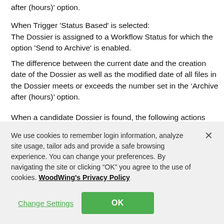after (hours)' option.
When Trigger 'Status Based' is selected:
The Dossier is assigned to a Workflow Status for which the option 'Send to Archive' is enabled.
The difference between the current date and the creation date of the Dossier as well as the modified date of all files in the Dossier meets or exceeds the number set in the ‘Archive after (hours)’ option.
When a candidate Dossier is found, the following actions take place:
We use cookies to remember login information, analyze site usage, tailor ads and provide a safe browsing experience. You can change your preferences. By navigating the site or clicking “OK” you agree to the use of cookies. WoodWing's Privacy Policy
Change Settings
OK